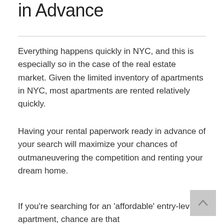in Advance
Everything happens quickly in NYC, and this is especially so in the case of the real estate market. Given the limited inventory of apartments in NYC, most apartments are rented relatively quickly.
Having your rental paperwork ready in advance of your search will maximize your chances of outmaneuvering the competition and renting your dream home.
If you're searching for an 'affordable' entry-level apartment, chance are that